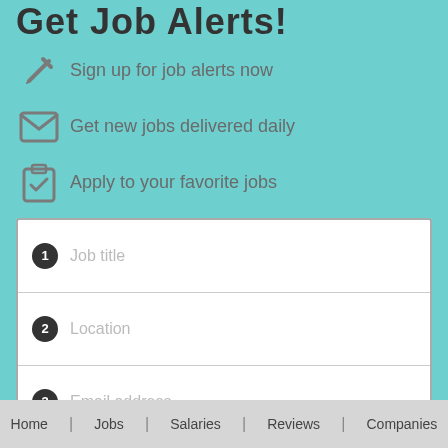Get Job Alerts!
Sign up for job alerts now
Get new jobs delivered daily
Apply to your favorite jobs
1 Job title
2 Location
3 Email address
Create Job Alert
You can unsubscribe from job alert emails any time.
Home | Jobs | Salaries | Reviews | Companies